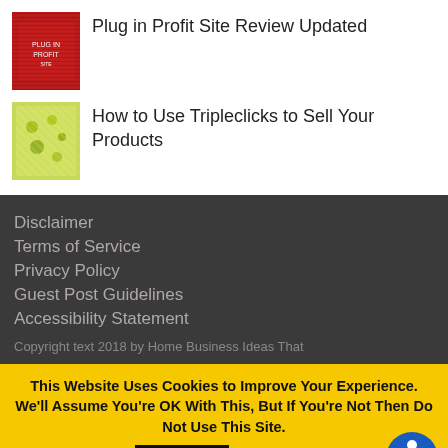Plug in Profit Site Review Updated
How to Use Tripleclicks to Sell Your Products
Disclaimer
Terms of Service
Privacy Policy
Guest Post Guidelines
Accessibility Statement
Copyright text 2018 by Home Business Ideas That
This Website Uses Cookies to Improve Your Experience. We'll Assume You're OK With This, But If You're Not Then Do Not Use This Site.